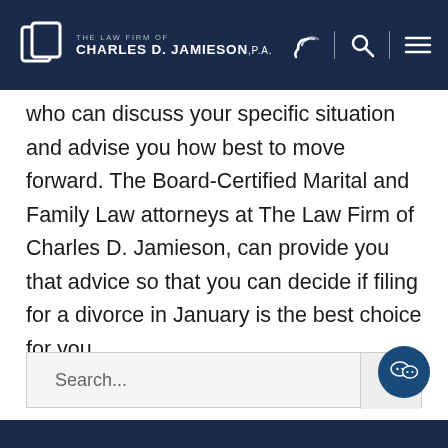[Figure (logo): The Law Firm of Charles D. Jamieson, P.A. logo with navigation icons on dark navy header]
who can discuss your specific situation and advise you how best to move forward.  The Board-Certified Marital and Family Law attorneys at The Law Firm of Charles D. Jamieson, can provide you that advice so that you can decide if filing for a divorce in January is the best choice for you.